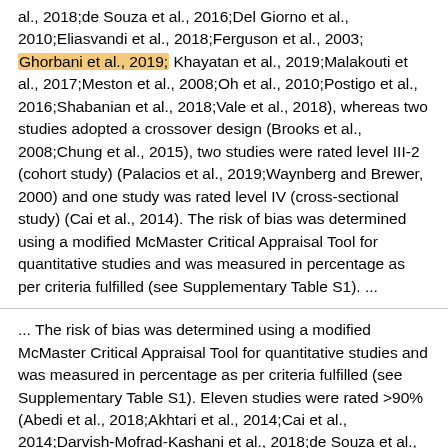al., 2018;de Souza et al., 2016;Del Giorno et al., 2010;Eliasvandi et al., 2018;Ferguson et al., 2003; Ghorbani et al., 2019; Khayatan et al., 2019;Malakouti et al., 2017;Meston et al., 2008;Oh et al., 2010;Postigo et al., 2016;Shabanian et al., 2018;Vale et al., 2018), whereas two studies adopted a crossover design (Brooks et al., 2008;Chung et al., 2015), two studies were rated level III-2 (cohort study) (Palacios et al., 2019;Waynberg and Brewer, 2000) and one study was rated level IV (cross-sectional study) (Cai et al., 2014). The risk of bias was determined using a modified McMaster Critical Appraisal Tool for quantitative studies and was measured in percentage as per criteria fulfilled (see Supplementary Table S1). ...
... The risk of bias was determined using a modified McMaster Critical Appraisal Tool for quantitative studies and was measured in percentage as per criteria fulfilled (see Supplementary Table S1). Eleven studies were rated >90% (Abedi et al., 2018;Akhtari et al., 2014;Cai et al., 2014;Darvish-Mofrad-Kashani et al., 2018;de Souza et al., 2016;Eliasvandi et al., 2018; Ghorbani et al., 2019; Khayatan et al., 2019;Malakouti et al., 2017;Oh et al., 2010;Palacios et al., 2019), six studies were rated 80-90% (Brooks et al., 2008;Del Giorno et al..